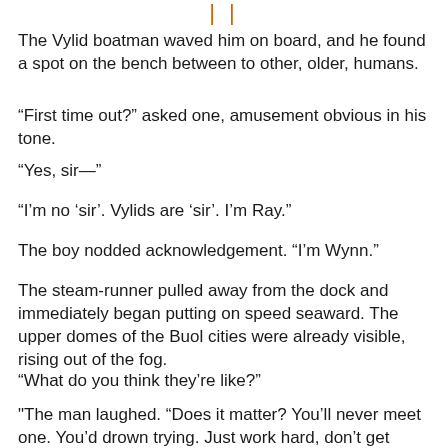[Figure (other): Decorative orange quotation marks or pipe symbols at top center]
The Vylid boatman waved him on board, and he found a spot on the bench between to other, older, humans.
“First time out?” asked one, amusement obvious in his tone.
“Yes, sir—”
“I’m no ‘sir’. Vylids are ‘sir’. I’m Ray.”
The boy nodded acknowledgement. “I’m Wynn.”
The steam-runner pulled away from the dock and immediately began putting on speed seaward. The upper domes of the Buol cities were already visible, rising out of the fog.
“What do you think they’re like?”
"The man laughed. “Does it matter? You’ll never meet one. You’d drown trying. Just work hard, don’t get noticed.”